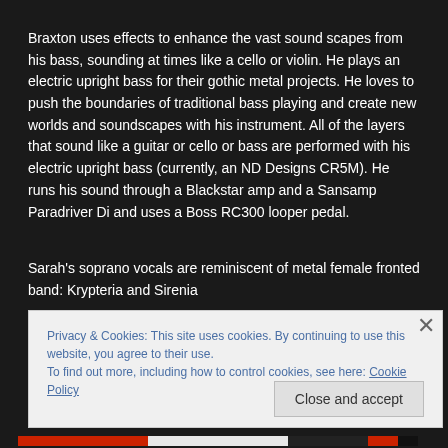Braxton uses effects to enhance the vast sound scapes from his bass, sounding at times like a cello or violin. He plays an electric upright bass for their gothic metal projects. He loves to push the boundaries of traditional bass playing and create new worlds and soundscapes with his instrument. All of the layers that sound like a guitar or cello or bass are performed with his electric upright bass (currently, an ND Designs CR5M). He runs his sound through a Blackstar amp and a Sansamp Paradriver Di and uses a Boss RC300 looper pedal.
Sarah's soprano vocals are reminiscent of metal female fronted band: Krypteria and Sirenia
Privacy & Cookies: This site uses cookies. By continuing to use this website, you agree to their use.
To find out more, including how to control cookies, see here: Cookie Policy
Close and accept